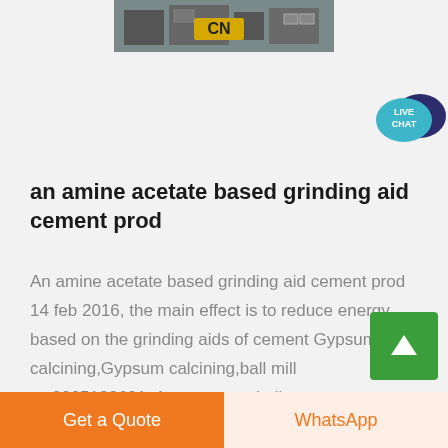[Figure (photo): Photograph of industrial cement grinding machinery with yellow CN logo visible]
[Figure (other): Live Chat speech bubble icon in teal/dark blue]
an amine acetate based grinding aid cement prod
An amine acetate based grinding aid cement prod 14 feb 2016, the main effect is to reduce energy based on the grinding aids of cement Gypsum calcining,Gypsum calcining,ball mill wo2005123621a1 - cement grinding aid...
[Figure (other): Green scroll-to-top button with upward arrow]
Get a Quote   WhatsApp